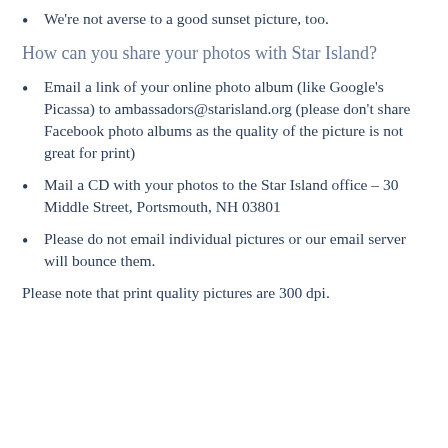We're not averse to a good sunset picture, too.
How can you share your photos with Star Island?
Email a link of your online photo album (like Google's Picassa) to ambassadors@starisland.org (please don't share Facebook photo albums as the quality of the picture is not great for print)
Mail a CD with your photos to the Star Island office – 30 Middle Street, Portsmouth, NH 03801
Please do not email individual pictures or our email server will bounce them.
Please note that print quality pictures are 300 dpi.